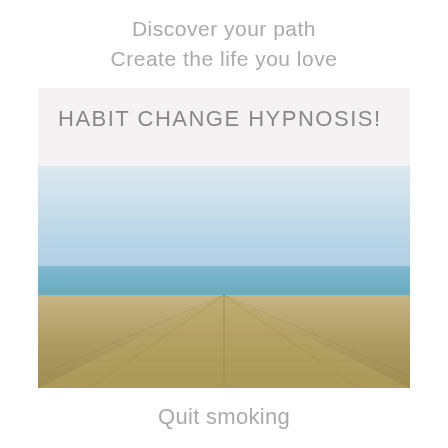Discover your path
Create the life you love
[Figure (illustration): Book cover for 'Habit Change Hypnosis!' showing a woman stretching on a wooden boardwalk by the sea, with a pale sky background. The top portion has a light gray background with the title text, and the bottom portion shows the photo.]
Quit smoking